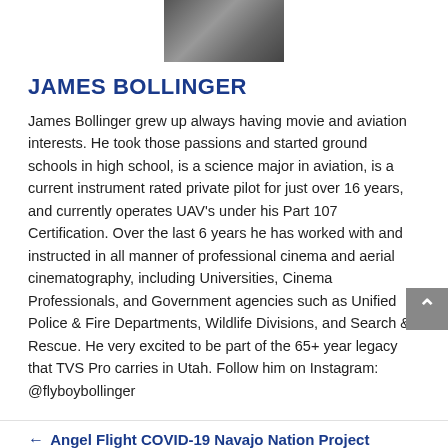[Figure (photo): Black and white photo of a camera or aerial filming equipment, partially visible at top center of page]
JAMES BOLLINGER
James Bollinger grew up always having movie and aviation interests. He took those passions and started ground schools in high school, is a science major in aviation, is a current instrument rated private pilot for just over 16 years, and currently operates UAV's under his Part 107 Certification. Over the last 6 years he has worked with and instructed in all manner of professional cinema and aerial cinematography, including Universities, Cinema Professionals, and Government agencies such as Unified Police & Fire Departments, Wildlife Divisions, and Search & Rescue. He very excited to be part of the 65+ year legacy that TVS Pro carries in Utah. Follow him on Instagram: @flyboybollinger
← Angel Flight COVID-19 Navajo Nation Project
Top 3 Ways to Leverage Financing for AV